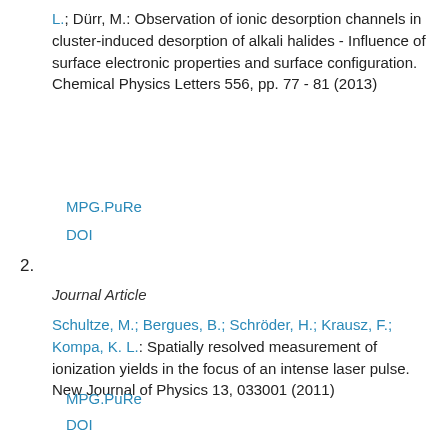L.; Dürr, M.: Observation of ionic desorption channels in cluster-induced desorption of alkali halides - Influence of surface electronic properties and surface configuration. Chemical Physics Letters 556, pp. 77 - 81 (2013)
MPG.PuRe
DOI
2.
Journal Article
Schultze, M.; Bergues, B.; Schröder, H.; Krausz, F.; Kompa, K. L.: Spatially resolved measurement of ionization yields in the focus of an intense laser pulse. New Journal of Physics 13, 033001 (2011)
MPG.PuRe
DOI
3.
Journal Article